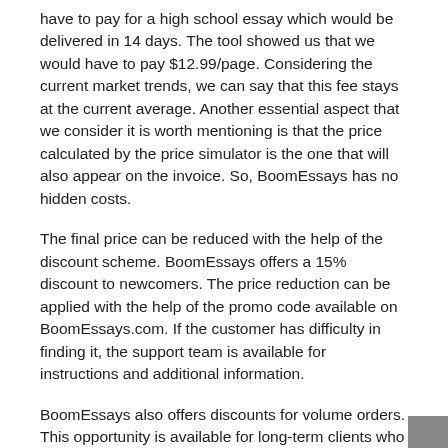have to pay for a high school essay which would be delivered in 14 days. The tool showed us that we would have to pay $12.99/page. Considering the current market trends, we can say that this fee stays at the current average. Another essential aspect that we consider it is worth mentioning is that the price calculated by the price simulator is the one that will also appear on the invoice. So, BoomEssays has no hidden costs.
The final price can be reduced with the help of the discount scheme. BoomEssays offers a 15% discount to newcomers. The price reduction can be applied with the help of the promo code available on BoomEssays.com. If the customer has difficulty in finding it, the support team is available for instructions and additional information.
BoomEssays also offers discounts for volume orders. This opportunity is available for long-term clients who